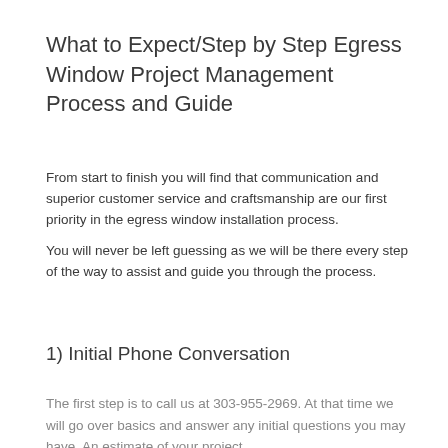What to Expect/Step by Step Egress Window Project Management Process and Guide
From start to finish you will find that communication and superior customer service and craftsmanship are our first priority in the egress window installation process.
You will never be left guessing as we will be there every step of the way to assist and guide you through the process.
1) Initial Phone Conversation
The first step is to call us at 303-955-2969. At that time we will go over basics and answer any initial questions you may have. An estimate of your project